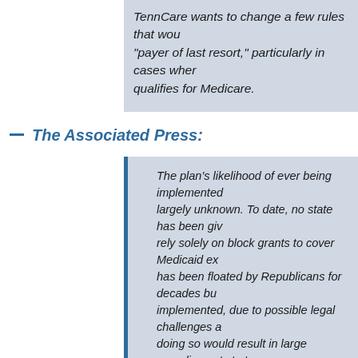TennCare wants to change a few rules that would make it the "payer of last resort," particularly in cases where a person qualifies for Medicare.
The Associated Press:
The plan's likelihood of ever being implemented is largely unknown. To date, no state has been given permission to rely solely on block grants to cover Medicaid expenses. The idea has been floated by Republicans for decades but has never been implemented, due to possible legal challenges and the fact that doing so would result in large spending cuts to the nation's most vulnerable populations. Yet Lee remains hopeful, noting that support is growing from President Donald Trump's administration and assurances that services to the state's indigent population will be maintained. GOP U.S. Sens. Lamar Alexander and Marsha Blackburn have also expressed interest in the plan, an endorsement Lee says could help push the idea further along.